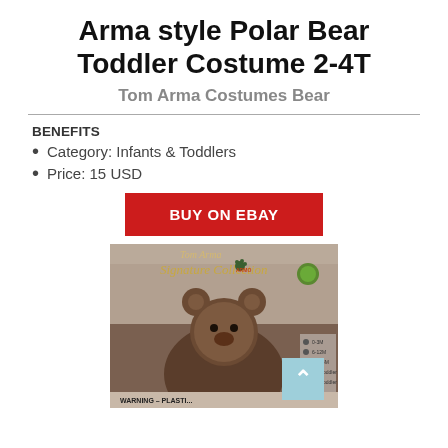Arma style Polar Bear Toddler Costume 2-4T
Tom Arma Costumes Bear
BENEFITS
Category: Infants & Toddlers
Price: 15 USD
BUY ON EBAY
[Figure (photo): Product photo of Tom Arma Signature Collection polar bear toddler costume in packaging, showing a toddler wearing the brown bear costume with bear-ear hood. Warning label visible at bottom.]